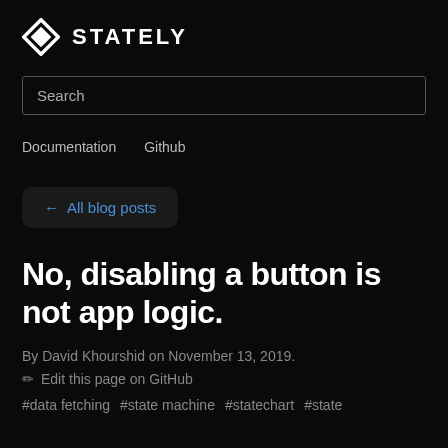STATELY
Search
Documentation  Github
← All blog posts
No, disabling a button is not app logic.
By David Khourshid on November 13, 2019.
✎ Edit this page on GitHub
#data fetching  #state machine  #statechart  #state